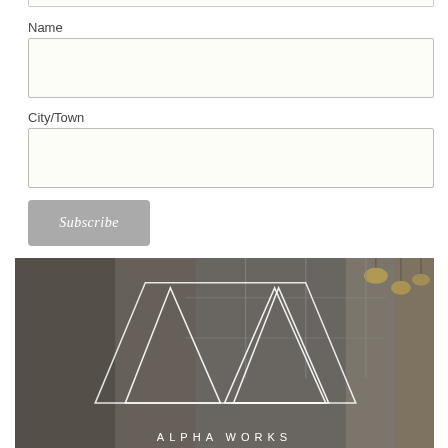Name
City/Town
Subscribe
[Figure (photo): Photo of a woman with long brown hair in a dark top, speaking in a modern office space with black-framed glass partitions and pendant lights. The Alpha Works logo (overlapping triangles forming a W shape) is overlaid in white lines, with the text 'ALPHA WORKS' at the bottom.]